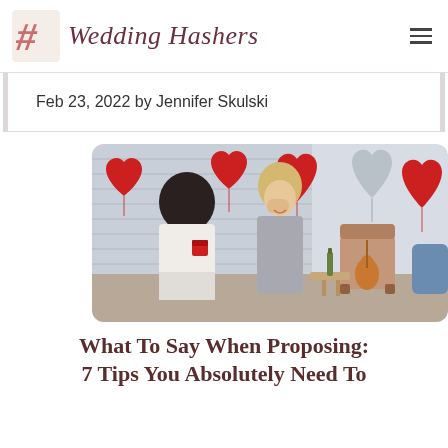Wedding Hashers
Feb 23, 2022 by Jennifer Skulski
[Figure (photo): A man kneeling and proposing to a woman in a room decorated with red and silver heart-shaped balloons, a guitar visible in the background along with a champagne bottle and an armchair.]
What To Say When Proposing: 7 Tips You Absolutely Need To